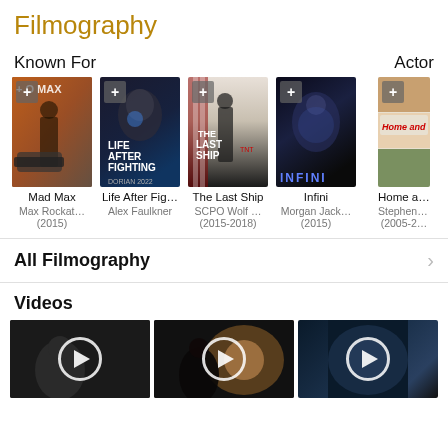Filmography
Known For
Actor
[Figure (photo): Movie poster grid showing Mad Max, Life After Fighting, The Last Ship, Infini, Home and Away with + buttons and play overlays]
Mad Max
Max Rockat…
(2015)
Life After Fig…
Alex Faulkner
The Last Ship
SCPO Wolf …
(2015-2018)
Infini
Morgan Jack…
(2015)
Home and…
Stephen T…
(2005-2…
All Filmography
Videos
[Figure (screenshot): Three video thumbnails with play buttons]
[Figure (screenshot): Video thumbnail 2]
[Figure (screenshot): Video thumbnail 3]